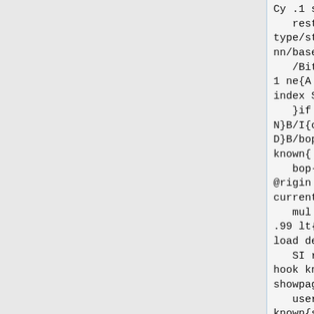Cy .1 sub]{Ci}imagemask
   restore}B/D{/cc X A
type/stringtype ne{[]}if
nn/base get cc ctr put nn
   /BitMaps get S ctr S sf
1 ne{A A length 1 sub A 2
index S get sf div put
   }if put/ctr ctr 1 add
N}B/I{cc 1 add
D}B/bop{userdict/bop-hook
known{
   bop-hook}if/SI save N
@rigin 0 0 moveto/V matrix
currentmatrix A 1 get A
   mul exch 0 get A mul add
.99 lt{/QV}{/RV}ifelse
load def pop pop}N/eop{
   SI restore userdict/eop-
hook known{eop-hook}if
showpage}N/@start{
   userdict/start-hook
known{start-hook}if
pop/VResolution
X/Resolution X
   1000 div/DVImag X/IFn